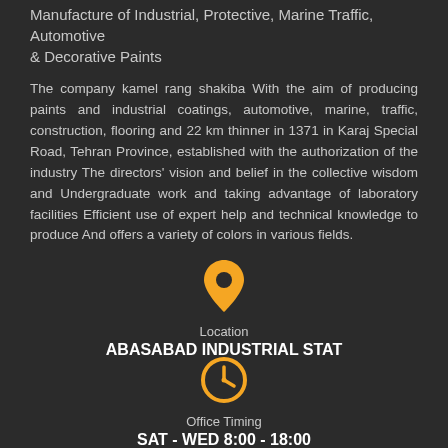Manufacture of Industrial, Protective, Marine Traffic, Automotive & Decorative Paints
The company kamel rang shakiba With the aim of producing paints and industrial coatings, automotive, marine, traffic, construction, flooring and 22 km thinner in 1371 in Karaj Special Road, Tehran Province, established with the authorization of the industry The directors' vision and belief in the collective wisdom and Undergraduate work and taking advantage of laboratory facilities Efficient use of expert help and technical knowledge to produce And offers a variety of colors in various fields.
[Figure (illustration): Orange map pin / location icon]
Location
ABASABAD INDUSTRIAL STAT
[Figure (illustration): Orange clock / office timing icon]
Office Timing
SAT - WED 8:00 - 18:00